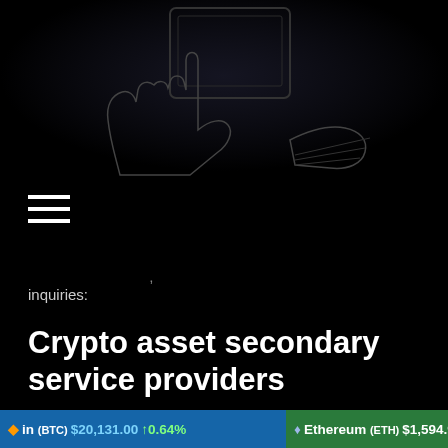[Figure (illustration): Dark illustration of a hand holding or interacting with a digital screen/device, rendered with white outlines on a black background]
[Figure (other): Hamburger menu icon (three horizontal white lines)]
inquiries:
Crypto asset secondary service providers
The Senate Select Committee that predated the TCP only considered DCEs. Under the TCP's proposal, the scope of regulation would be broadened to 'crypto asset secondary service providers' (CASSPrs) – platforms that facilitate exchange, transfer or storage of crypto assets. This expansion would capture a much larger variety of service
Bitcoin (BTC) $20,131.00 ↑0.64% Ethereum (ETH) $1,594.97 ↑2.51%